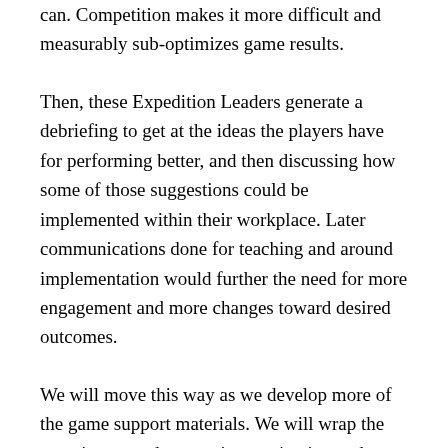can. Competition makes it more difficult and measurably sub-optimizes game results.
Then, these Expedition Leaders generate a debriefing to get at the ideas the players have for performing better, and then discussing how some of those suggestions could be implemented within their workplace. Later communications done for teaching and around implementation would further the need for more engagement and more changes toward desired outcomes.
We will move this way as we develop more of the game support materials. We will wrap the exercise around generating motivation and teamwork and improving how people engage and collaborate around their remote